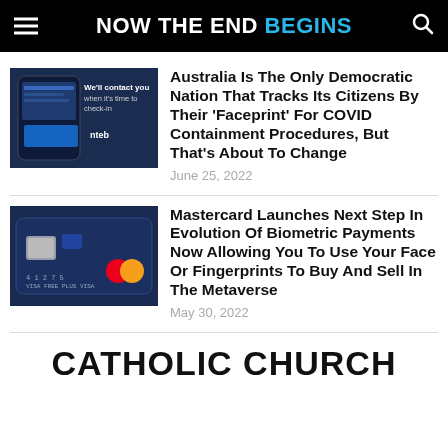NOW THE END BEGINS
[Figure (screenshot): Thumbnail image of a smartphone app check-in screen with text 'We'll contact you when it's time to check-in' with NTEB logo]
Australia Is The Only Democratic Nation That Tracks Its Citizens By Their 'Faceprint' For COVID Containment Procedures, But That's About To Change
June 25, 2022
[Figure (photo): Thumbnail image of a dark blue Mastercard credit card showing card number and Mastercard logo]
Mastercard Launches Next Step In Evolution Of Biometric Payments Now Allowing You To Use Your Face Or Fingerprints To Buy And Sell In The Metaverse
May 30, 2022
CATHOLIC CHURCH